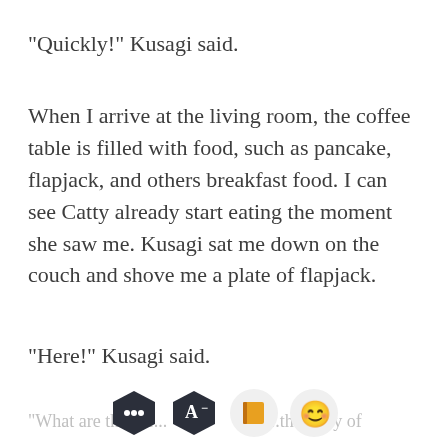"Quickly!" Kusagi said.
When I arrive at the living room, the coffee table is filled with food, such as pancake, flapjack, and others breakfast food. I can see Catty already start eating the moment she saw me. Kusagi sat me down on the couch and shove me a plate of flapjack.
"Here!" Kusagi said.
[Figure (illustration): Four app/UI icons in a bottom bar: dark hexagon with chat bubble, dark hexagon with letter A and minus, light circle with orange book, light circle with smiling cat emoji]